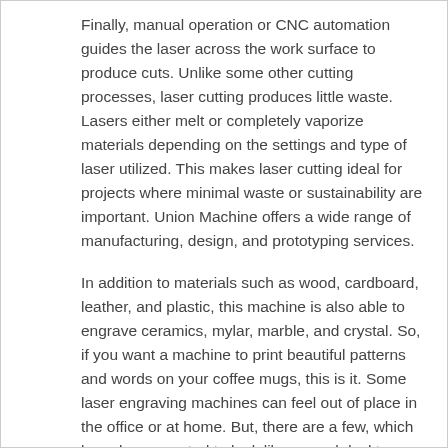Finally, manual operation or CNC automation guides the laser across the work surface to produce cuts. Unlike some other cutting processes, laser cutting produces little waste. Lasers either melt or completely vaporize materials depending on the settings and type of laser utilized. This makes laser cutting ideal for projects where minimal waste or sustainability are important. Union Machine offers a wide range of manufacturing, design, and prototyping services.
In addition to materials such as wood, cardboard, leather, and plastic, this machine is also able to engrave ceramics, mylar, marble, and crystal. So, if you want a machine to print beautiful patterns and words on your coffee mugs, this is it. Some laser engraving machines can feel out of place in the office or at home. But, there are a few, which have been created to look like normal desktop printers. The Glowforge Plus 3D Laser Printer is an elegantly designed machine that fits in with the rest of the office machinery whether at home or workplace. Apart from being a dedicated engraver, it also has the ability to print.